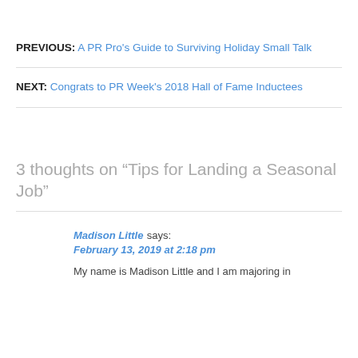PREVIOUS: A PR Pro's Guide to Surviving Holiday Small Talk
NEXT: Congrats to PR Week's 2018 Hall of Fame Inductees
3 thoughts on “Tips for Landing a Seasonal Job”
Madison Little says:
February 13, 2019 at 2:18 pm
My name is Madison Little and I am majoring in